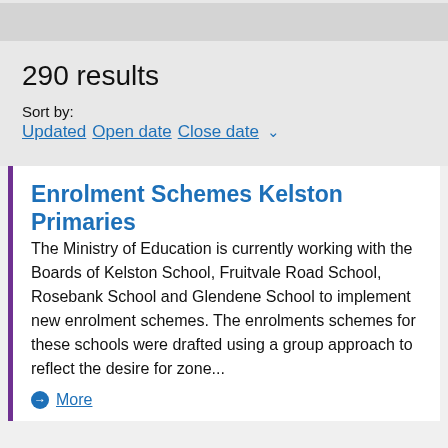290 results
Sort by:
Updated   Open date   Close date ▾
Enrolment Schemes Kelston Primaries
The Ministry of Education is currently working with the Boards of Kelston School, Fruitvale Road School, Rosebank School and Glendene School to implement new enrolment schemes. The enrolments schemes for these schools were drafted using a group approach to reflect the desire for zone...
More